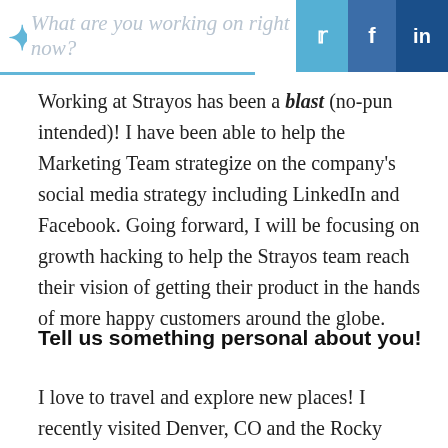What are you working on right now?
Working at Strayos has been a blast (no-pun intended)! I have been able to help the Marketing Team strategize on the company's social media strategy including LinkedIn and Facebook. Going forward, I will be focusing on growth hacking to help the Strayos team reach their vision of getting their product in the hands of more happy customers around the globe.
Tell us something personal about you!
I love to travel and explore new places! I recently visited Denver, CO and the Rocky Mountains. My